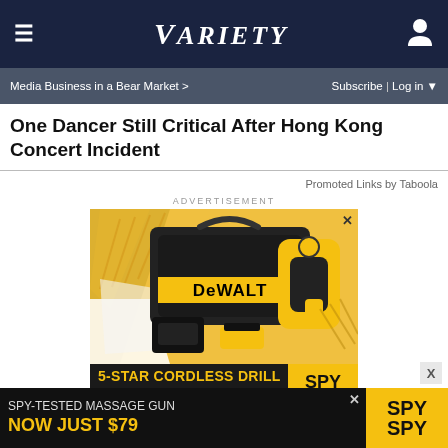≡  VARIETY  👤
Media Business in a Bear Market >
Subscribe | Log in ▼
One Dancer Still Critical After Hong Kong Concert Incident
Promoted Links by Taboola
ADVERTISEMENT
[Figure (photo): DeWalt 5-star cordless drill advertisement showing a DeWalt drill, battery, charger, and tool bag on a yellow and dark background. Text reads: 5-STAR CORDLESS DRILL ON SALE AT AMAZON. SPY logo visible.]
SPY-TESTED MASSAGE GUN NOW JUST $79